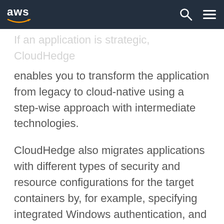aws
If an application is strategic, CloudHedge enables you to transform the application from legacy to cloud-native using a step-wise approach with intermediate technologies.
CloudHedge also migrates applications with different types of security and resource configurations for the target containers by, for example, specifying integrated Windows authentication, and separate application pools for different applications.
For Applications Running